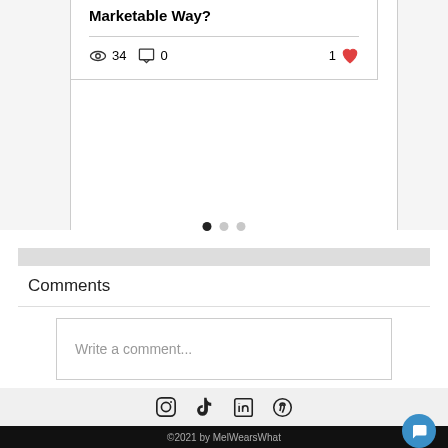[Figure (screenshot): Blog post card showing title with 'Marketable Way?', view count 34, comment count 0, and 1 like (heart icon)]
[Figure (infographic): Pagination dots: first dot filled black, second and third dots gray]
Comments
Write a comment...
[Figure (infographic): Footer with social media icons: Instagram, TikTok, LinkedIn, Pinterest]
©2021 by MelWearsWhat